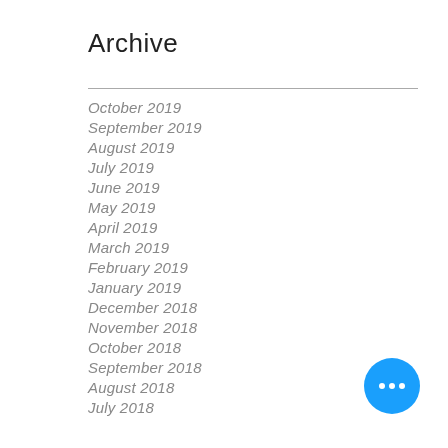Archive
October 2019
September 2019
August 2019
July 2019
June 2019
May 2019
April 2019
March 2019
February 2019
January 2019
December 2018
November 2018
October 2018
September 2018
August 2018
July 2018